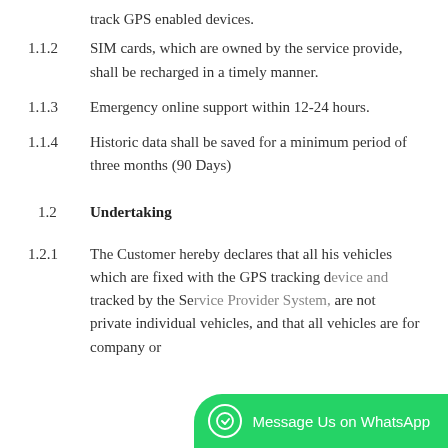track GPS enabled devices.
1.1.2    SIM cards, which are owned by the service provide, shall be recharged in a timely manner.
1.1.3    Emergency online support within 12-24 hours.
1.1.4    Historic data shall be saved for a minimum period of three months (90 Days)
1.2    Undertaking
1.2.1    The Customer hereby declares that all his vehicles which are fixed with the GPS tracking device and tracked by the Service Provider System, are not private individual vehicles, and that all vehicles are for company or